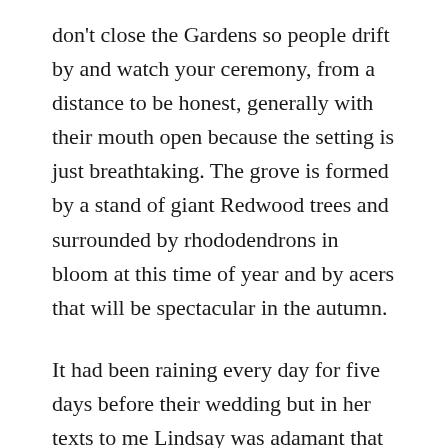don't close the Gardens so people drift by and watch your ceremony, from a distance to be honest, generally with their mouth open because the setting is just breathtaking. The grove is formed by a stand of giant Redwood trees and surrounded by rhododendrons in bloom at this time of year and by acers that will be spectacular in the autumn.
It had been raining every day for five days before their wedding but in her texts to me Lindsay was adamant that she was having her wedding outside in the grove. “It will be fine Brian, don’t worry.” She was correct, it was sunny but not very warm if I am honest. Their ceremony was beautiful. They had hired Keith Murray a classical guitarist to play as the guests arrived and